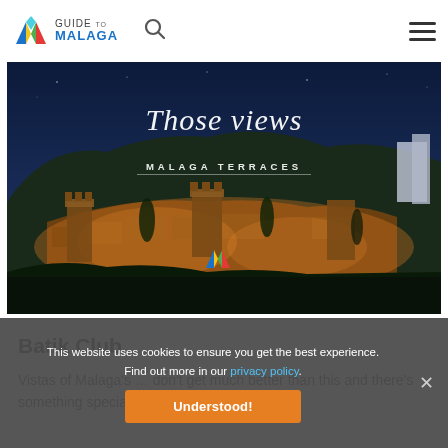[Figure (logo): Guide to Malaga logo with colourful triangular mountain icon and text 'GUIDE TO MALAGA']
[Figure (photo): Night photograph of Malaga castle (Alcazaba) illuminated in orange light, with the cursive text 'Those views' and subtitle 'MALAGA TERRACES' overlaid, plus the Guide to Malaga logo at the bottom centre]
This website uses cookies to ensure you get the best experience. Find out more in our privacy policy.
Understood!
Batik Club
Vistas of Malaga's … don't get much better than this and there's something special about